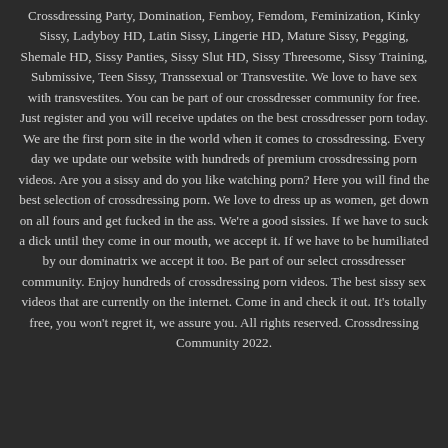Crossdressing Party, Domination, Femboy, Femdom, Feminization, Kinky Sissy, Ladyboy HD, Latin Sissy, Lingerie HD, Mature Sissy, Pegging, Shemale HD, Sissy Panties, Sissy Slut HD, Sissy Threesome, Sissy Training, Submissive, Teen Sissy, Transsexual or Transvestite. We love to have sex with transvestites. You can be part of our crossdresser community for free. Just register and you will receive updates on the best crossdresser porn today. We are the first porn site in the world when it comes to crossdressing. Every day we update our website with hundreds of premium crossdressing porn videos. Are you a sissy and do you like watching porn? Here you will find the best selection of crossdressing porn. We love to dress up as women, get down on all fours and get fucked in the ass. We're a good sissies. If we have to suck a dick until they come in our mouth, we accept it. If we have to be humiliated by our dominatrix we accept it too. Be part of our select crossdresser community. Enjoy hundreds of crossdressing porn videos. The best sissy sex videos that are currently on the internet. Come in and check it out. It's totally free, you won't regret it, we assure you. All rights reserved. Crossdressing Community 2022.